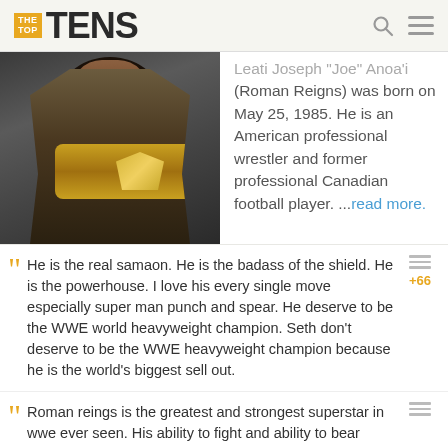THE TOP TENS
[Figure (photo): Roman Reigns holding the WWE Championship belt, dark background, wearing wrestling attire with tattoos visible]
Leati Joseph "Joe" Anoa'i (Roman Reigns) was born on May 25, 1985. He is an American professional wrestler and former professional Canadian football player. ...read more.
He is the real samaon. He is the badass of the shield. He is the powerhouse. I love his every single move especially super man punch and spear. He deserve to be the WWE world heavyweight champion. Seth don't deserve to be the WWE heavyweight champion because he is the world's biggest sell out.
Roman reings is the greatest and strongest superstar in wwe ever seen. His ability to fight and ability to bear injuries, he is ever greatest wwe superstar. He beated